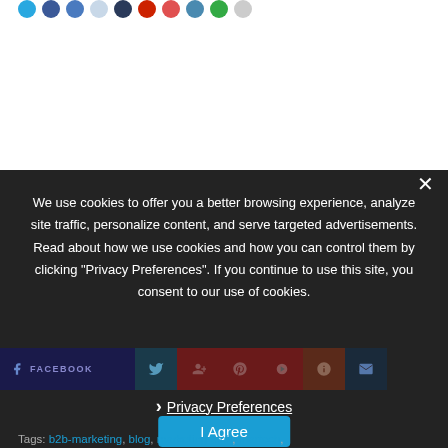[Figure (screenshot): Social media share icon circles row at top of page (partially visible)]
We use cookies to offer you a better browsing experience, analyze site traffic, personalize content, and serve targeted advertisements. Read about how we use cookies and how you can control them by clicking "Privacy Preferences". If you continue to use this site, you consent to our use of cookies.
[Figure (screenshot): Social share buttons row showing Facebook, Twitter, Google+, Pinterest, YouTube, StumbleUpon, Email icons]
› Privacy Preferences
I Agree
Tags: b2b-marketing, blog, marketing tech, martech,